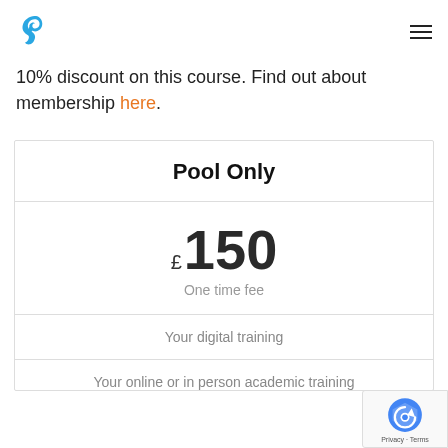Logo and navigation menu
10% discount on this course. Find out about membership here.
| Pool Only |
| --- |
| £ 150 | One time fee |
| Your digital training |
| Your online or in person academic training |